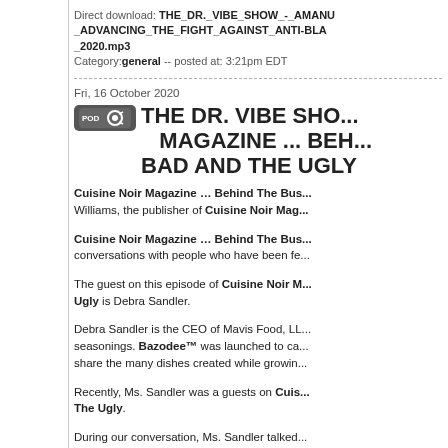Direct download: THE_DR._VIBE_SHOW_-_AMANU_ADVANCING_THE_FIGHT_AGAINST_ANTI-BLA_2020.mp3
Category: general -- posted at: 3:21pm EDT
Fri, 16 October 2020
THE DR. VIBE SHO... MAGAZINE ... BEH... BAD AND THE UGLY
Cuisine Noir Magazine … Behind The Bus... Williams, the publisher of Cuisine Noir Mag...
Cuisine Noir Magazine … Behind The Bus... conversations with people who have been fe...
The guest on this episode of Cuisine Noir M... Ugly is Debra Sandler.
Debra Sandler is the CEO of Mavis Food, LL... seasonings. Bazodee™ was launched to ca... share the many dishes created while growin...
Recently, Ms. Sandler was a guests on Cuis... The Ugly.
During our conversation, Ms. Sandler talked...
– Being born in Venezuela, going to Trinida... was eighteen and then going to America
– Spending thirteen years at Pepsico and s...
– Her launching Splenda (a low calorie swe... boards of ADM, Dollar General, Ganettt
– The story behind Mavis Foods, LLC, Baz...